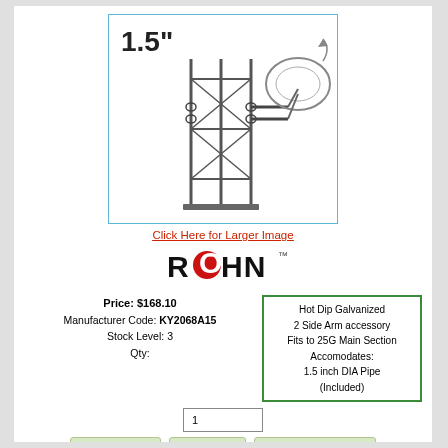[Figure (illustration): Product illustration of a tower side arm mount bracket for 1.5 inch pipe, labeled '1.5"', showing a satellite dish mounted on a lattice tower section via side arm accessory.]
Click Here for Larger Image
[Figure (logo): ROHN brand logo in black and red]
Price: $168.10
Manufacturer Code: KY2068A15
Stock Level: 3
Qty:
Hot Dip Galvanized
2 Side Arm accessory
Fits to 25G Main Section
Accomodates:
1.5 inch DIA Pipe
(Included)
1
Add to Cart
View Cart
Shipping Calculator
Availability: Usually ships in 24 Hrs
Shipping: Can ship only within USA